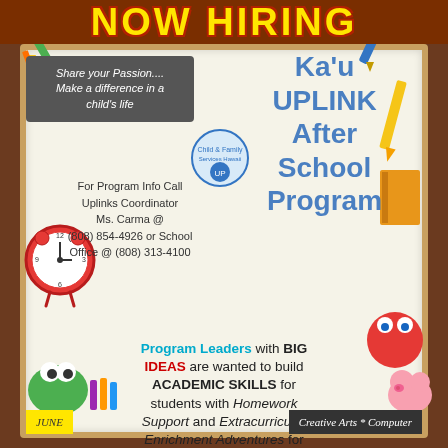NOW HIRING
Share your Passion.... Make a difference in a child's life
Ka'u UPLINK After School Program
For Program Info Call Uplinks Coordinator Ms. Carma @ (808) 854-4926 or School Office @ (808) 313-4100
Program Leaders with BIG IDEAS are wanted to build ACADEMIC SKILLS for students with Homework Support and Extracurricular Enrichment Adventures for Middle School
Creative Arts * Computer
JUNE